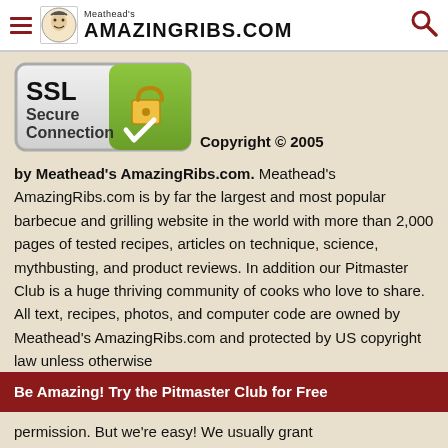Meathead's AmazingRibs.com
[Figure (logo): SSL Secure Connection badge with padlock icon on green background]
Copyright © 2005 by Meathead's AmazingRibs.com. Meathead's AmazingRibs.com is by far the largest and most popular barbecue and grilling website in the world with more than 2,000 pages of tested recipes, articles on technique, science, mythbusting, and product reviews. In addition our Pitmaster Club is a huge thriving community of cooks who love to share. All text, recipes, photos, and computer code are owned by Meathead's AmazingRibs.com and protected by US copyright law unless otherwise permission. But we're easy! We usually grant
Be Amazing! Try the Pitmaster Club for Free